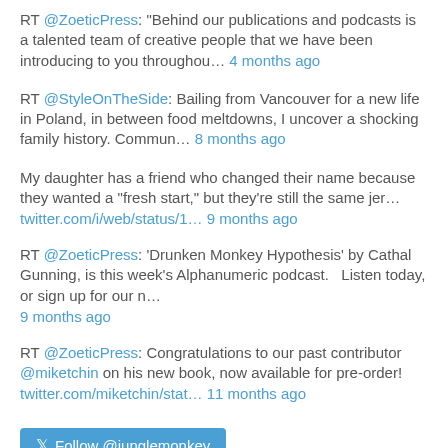RT @ZoeticPress: "Behind our publications and podcasts is a talented team of creative people that we have been introducing to you throughou… 4 months ago
RT @StyleOnTheSide: Bailing from Vancouver for a new life in Poland, in between food meltdowns, I uncover a shocking family history. Commun… 8 months ago
My daughter has a friend who changed their name because they wanted a "fresh start," but they're still the same jer… twitter.com/i/web/status/1… 9 months ago
RT @ZoeticPress: 'Drunken Monkey Hypothesis' by Cathal Gunning, is this week's Alphanumeric podcast.   Listen today, or sign up for our n… 9 months ago
RT @ZoeticPress: Congratulations to our past contributor @miketchin on his new book, now available for pre-order! twitter.com/miketchin/stat… 11 months ago
Follow @junglemonkey